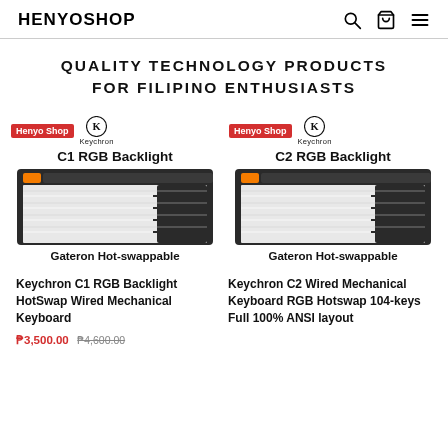HENYOSHOP
QUALITY TECHNOLOGY PRODUCTS FOR FILIPINO ENTHUSIASTS
[Figure (photo): Keychron C1 RGB Backlight Gateron Hot-swappable keyboard product image with Henyo Shop badge and Keychron logo]
[Figure (photo): Keychron C2 RGB Backlight Gateron Hot-swappable keyboard product image with Henyo Shop badge and Keychron logo]
Keychron C1 RGB Backlight HotSwap Wired Mechanical Keyboard
₱3,500.00 ₱4,600.00
Keychron C2 Wired Mechanical Keyboard RGB Hotswap 104-keys Full 100% ANSI layout